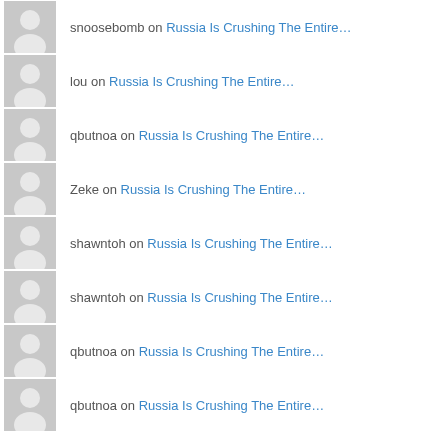snoosebomb on Russia Is Crushing The Entire…
lou on Russia Is Crushing The Entire…
qbutnoa on Russia Is Crushing The Entire…
Zeke on Russia Is Crushing The Entire…
shawntoh on Russia Is Crushing The Entire…
shawntoh on Russia Is Crushing The Entire…
qbutnoa on Russia Is Crushing The Entire…
qbutnoa on Russia Is Crushing The Entire…